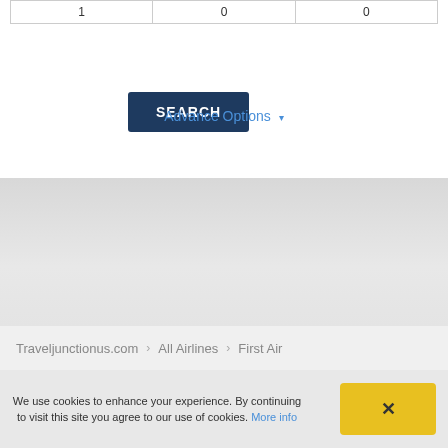| 1 | 0 | 0 |
| --- | --- | --- |
[Figure (screenshot): SEARCH button - dark navy blue rectangular button with white uppercase text]
Advance Options ▾
Traveljunctionus.com  >  All Airlines  >  First Air
We use cookies to enhance your experience. By continuing to visit this site you agree to our use of cookies. More info